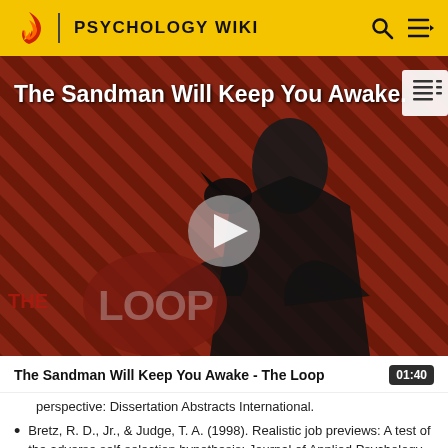PSYCHOLOGY WIKI
[Figure (screenshot): Video thumbnail for 'The Sandman Will Keep You Awake - The Loop' showing a figure in black robes against a red and black striped background with 'THE LOOP' watermark and a play button overlay.]
The Sandman Will Keep You Awake - The Loop  01:40
perspective: Dissertation Abstracts International.
Bretz, R. D., Jr., & Judge, T. A. (1998). Realistic job previews: A test of the adverse self-selection hypothesis: Journal of Applied Psychology Vol 83(2)